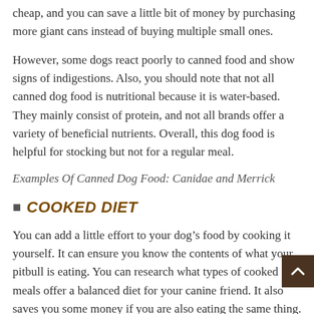cheap, and you can save a little bit of money by purchasing more giant cans instead of buying multiple small ones.
However, some dogs react poorly to canned food and show signs of indigestions. Also, you should note that not all canned dog food is nutritional because it is water-based. They mainly consist of protein, and not all brands offer a variety of beneficial nutrients. Overall, this dog food is helpful for stocking but not for a regular meal.
Examples Of Canned Dog Food: Canidae and Merrick
COOKED DIET
You can add a little effort to your dog’s food by cooking it yourself. It can ensure you know the contents of what your pitbull is eating. You can research what types of cooked meals offer a balanced diet for your canine friend. It also saves you some money if you are also eating the same thing.